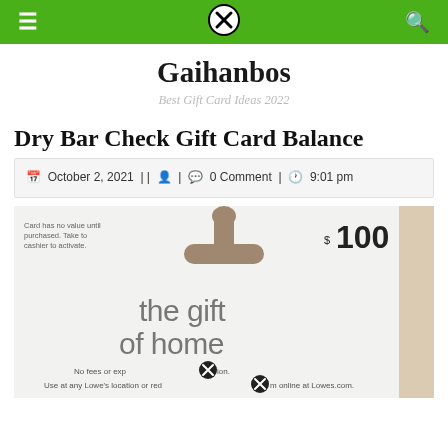Navigation bar with menu icon, close icon, and search icon on green background
Gaihanbos
Best Gift Card Ideas 2022
Dry Bar Check Gift Card Balance
October 2, 2021 || □ | 💬 0 Comment | ○ 9:01 pm
[Figure (photo): Photo of a Lowe's $100 gift card reading 'the gift of home'. Small text says 'Card has no value until purchased. Take to cashier to activate.' Bottom text: 'No fees or expiration. Use at any Lowe's location or redeem online at Lowes.com.']